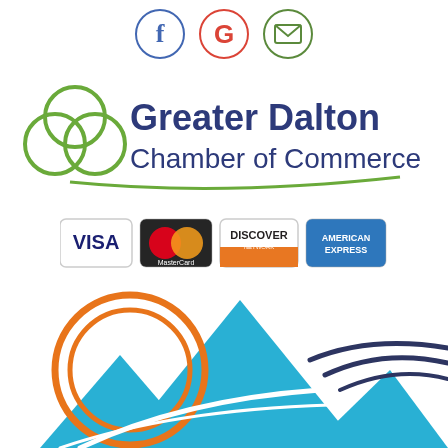[Figure (logo): Social media icons: Facebook (f in blue circle), Google (G in red circle), Email/envelope (in green circle)]
[Figure (logo): Greater Dalton Chamber of Commerce logo with interlocking green circles and dark blue text]
[Figure (logo): Payment method logos: VISA, MasterCard, Discover Network, American Express]
[Figure (illustration): Decorative graphic showing orange concentric circles (sun), blue mountain peaks, white swooping road lines, and dark navy arc lines]